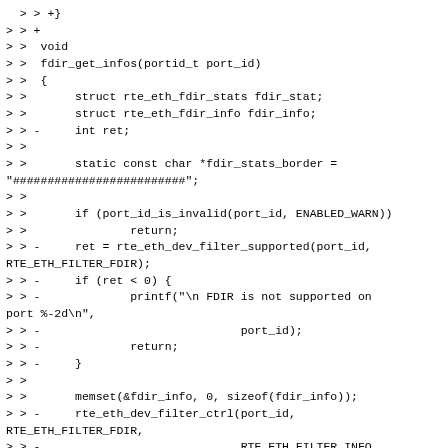Code diff showing changes to fdir_get_infos function, including removal of ret variable and rte_eth_dev_filter calls, replacement with get_fdir_info call.